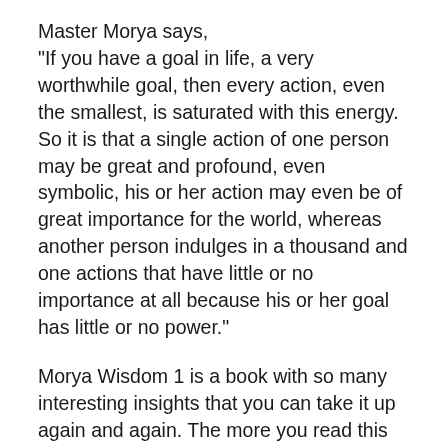Master Morya says,
"If you have a goal in life, a very worthwhile goal, then every action, even the smallest, is saturated with this energy. So it is that a single action of one person may be great and profound, even symbolic, his or her action may even be of great importance for the world, whereas another person indulges in a thousand and one actions that have little or no importance at all because his or her goal has little or no power."
Morya Wisdom 1 is a book with so many interesting insights that you can take it up again and again. The more you read this book, the more you can extract from it and the more